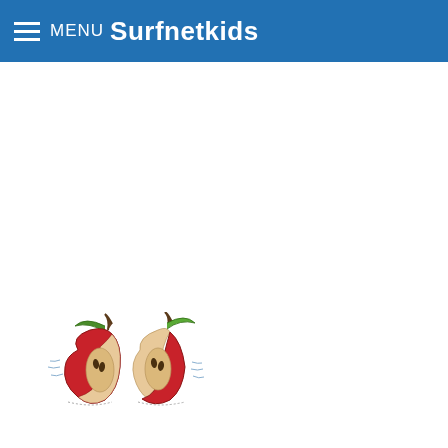MENU Surfnetkids
[Figure (illustration): Two halves of a red apple cut open, showing seeds and core, with green leaves and stems. Cartoon-style illustration on a white background.]